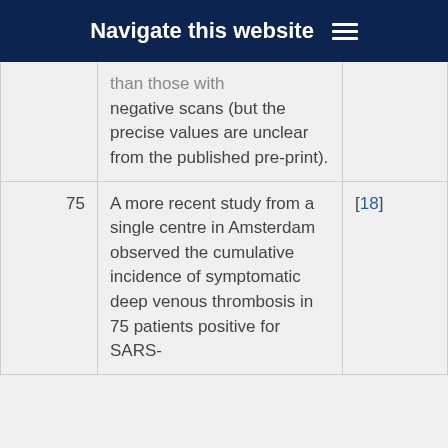Navigate this website
|  | than those with negative scans (but the precise values are unclear from the published pre-print). |  |
| 75 | A more recent study from a single centre in Amsterdam observed the cumulative incidence of symptomatic deep venous thrombosis in 75 patients positive for SARS- | [18] |